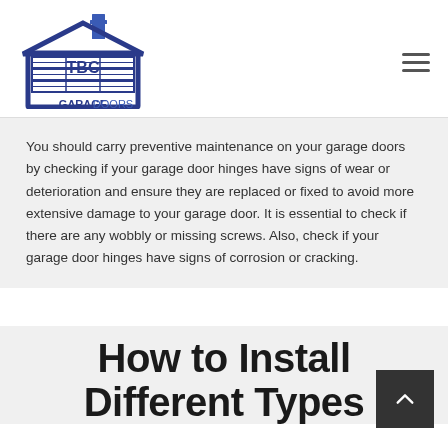TBC Garage Doors logo and navigation
You should carry preventive maintenance on your garage doors by checking if your garage door hinges have signs of wear or deterioration and ensure they are replaced or fixed to avoid more extensive damage to your garage door. It is essential to check if there are any wobbly or missing screws. Also, check if your garage door hinges have signs of corrosion or cracking.
How to Install Different Types